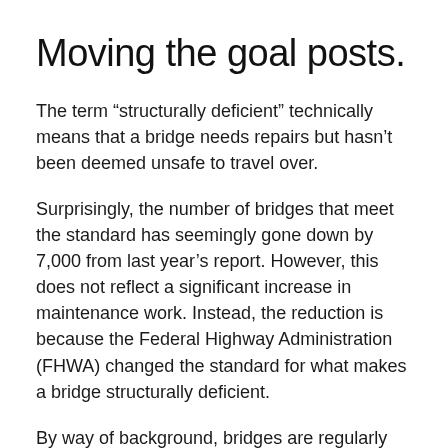Moving the goal posts.
The term “structurally deficient” technically means that a bridge needs repairs but hasn’t been deemed unsafe to travel over.
Surprisingly, the number of bridges that meet the standard has seemingly gone down by 7,000 from last year’s report. However, this does not reflect a significant increase in maintenance work. Instead, the reduction is because the Federal Highway Administration (FHWA) changed the standard for what makes a bridge structurally deficient.
By way of background, bridges are regularly inspected and rated for safety on a scale of zero to nine (zero is unsafe, nine is very safe). Prior to the change, a bridge